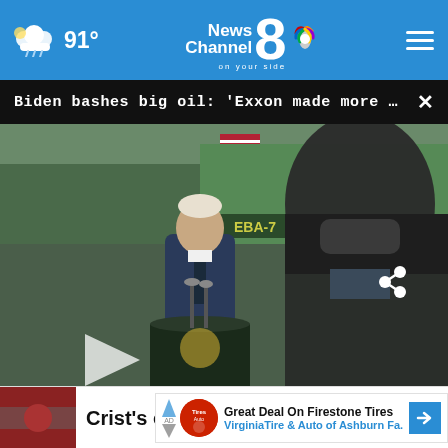91° | News Channel 8 on your side
Biden bashes big oil: 'Exxon made more money tha...
[Figure (photo): President Biden speaking at a podium with presidential seal, with a masked attendee in the foreground, at a port facility with shipping containers in the background]
Crist's old seat
Great Deal On Firestone Tires VirginiaTire & Auto of Ashburn Fa.